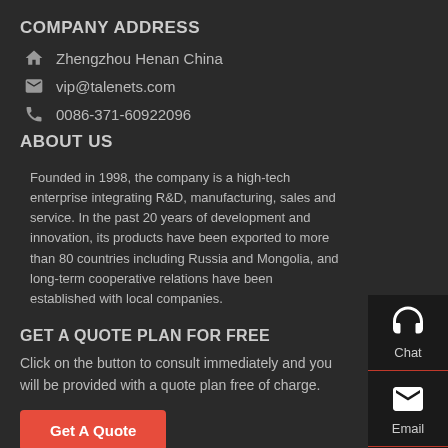COMPANY ADDRESS
Zhengzhou Henan China
vip@talenets.com
0086-371-60922096
ABOUT US
Founded in 1998, the company is a high-tech enterprise integrating R&D, manufacturing, sales and service. In the past 20 years of development and innovation, its products have been exported to more than 80 countries including Russia and Mongolia, and long-term cooperative relations have been established with local companies.
GET A QUOTE PLAN FOR FREE
Click on the button to consult immediately and you will be provided with a quote plan free of charge.
Get A Quote
[Figure (infographic): Right sidebar with three icons: Chat (headset), Email (envelope), Contact (speech bubble)]